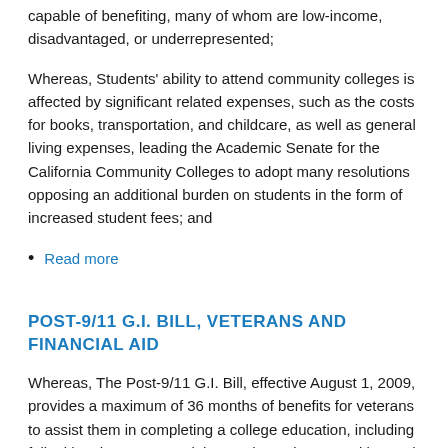capable of benefiting, many of whom are low-income, disadvantaged, or underrepresented;
Whereas, Students' ability to attend community colleges is affected by significant related expenses, such as the costs for books, transportation, and childcare, as well as general living expenses, leading the Academic Senate for the California Community Colleges to adopt many resolutions opposing an additional burden on students in the form of increased student fees; and
Read more
POST-9/11 G.I. BILL, VETERANS AND FINANCIAL AID
Whereas, The Post-9/11 G.I. Bill, effective August 1, 2009, provides a maximum of 36 months of benefits for veterans to assist them in completing a college education, including full tuition, but to pay and the maximum in-state tuition and f...